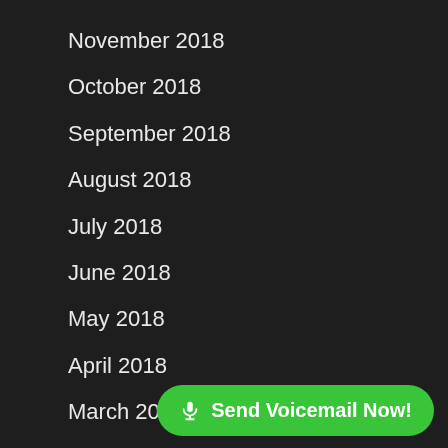November 2018
October 2018
September 2018
August 2018
July 2018
June 2018
May 2018
April 2018
March 2018
February 2018
January 2018
December 2017
November 2017
🎤 Send Voicemail Now!